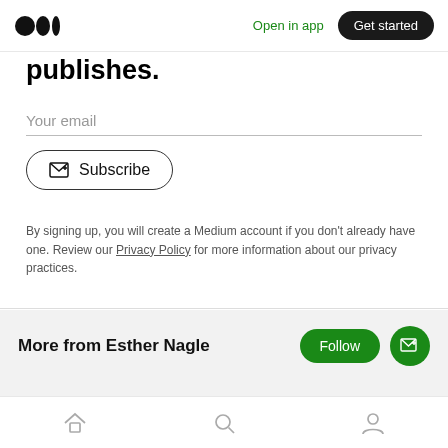Medium logo | Open in app | Get started
publishes.
Your email
Subscribe
By signing up, you will create a Medium account if you don't already have one. Review our Privacy Policy for more information about our privacy practices.
More from Esther Nagle
Home | Search | Profile